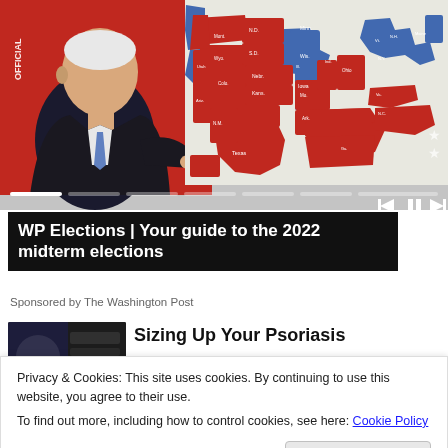[Figure (screenshot): Video player showing Biden speaking at podium on left with red background, US electoral map on right showing red and blue states. Progress bar and playback controls visible at bottom.]
WP Elections | Your guide to the 2022 midterm elections
Sponsored by The Washington Post
[Figure (photo): Thumbnail image for Psoriasis advertisement]
Sizing Up Your Psoriasis
Privacy & Cookies: This site uses cookies. By continuing to use this website, you agree to their use.
To find out more, including how to control cookies, see here: Cookie Policy
Close and accept
[Figure (photo): Thumbnail for bottom article]
This Modest House, Take A